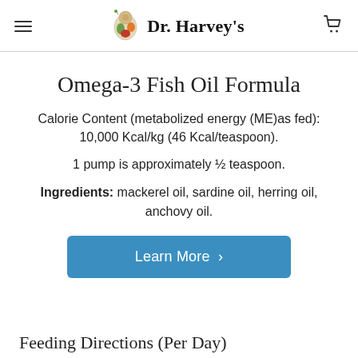Dr. Harvey's
Omega-3 Fish Oil Formula
Calorie Content (metabolized energy (ME)as fed): 10,000 Kcal/kg (46 Kcal/teaspoon).
1 pump is approximately ½ teaspoon.
Ingredients: mackerel oil, sardine oil, herring oil, anchovy oil.
Learn More >
Feeding Directions (Per Day)